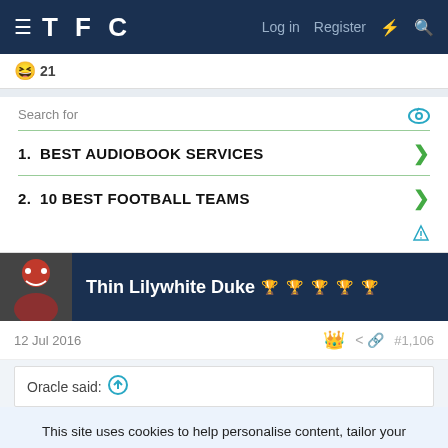TFC — Log in   Register
😆 21
[Figure (screenshot): Advertisement block with 'Search for' label and two items: 1. BEST AUDIOBOOK SERVICES, 2. 10 BEST FOOTBALL TEAMS]
Thin Lilywhite Duke 🏆🏆🏆🏆🏆
12 Jul 2016  👑  🔗  #1,106
Oracle said: ⬆
This site uses cookies to help personalise content, tailor your experience and to keep you logged in if you register.
By continuing to use this site, you are consenting to our use of cookies.
✓ ACCEPT    LEARN MORE...